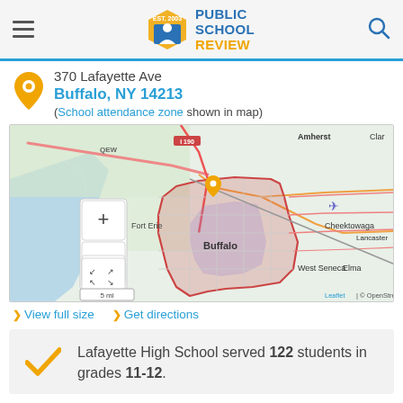Public School Review - Est. 2003
370 Lafayette Ave
Buffalo, NY 14213
(School attendance zone shown in map)
[Figure (map): Interactive map showing Buffalo, NY area with school attendance zone highlighted in red outline and shaded region. Shows surrounding areas including Amherst, Fort Erie, Cheektowaga, Lancaster, West Seneca, Elma. Map controls include zoom in/out and fullscreen. Scale shows 5 mi. Attribution: Leaflet | © OpenStreetMap]
> View full size  > Get directions
Lafayette High School served 122 students in grades 11-12.